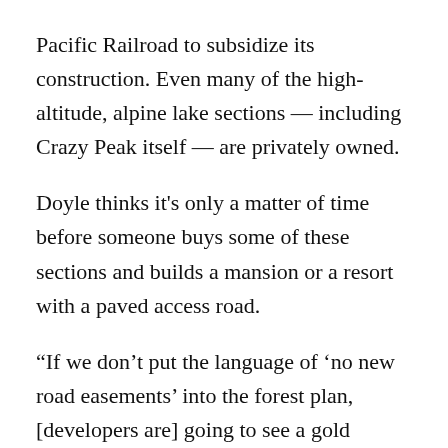Pacific Railroad to subsidize its construction. Even many of the high-altitude, alpine lake sections — including Crazy Peak itself — are privately owned.
Doyle thinks it's only a matter of time before someone buys some of these sections and builds a mansion or a resort with a paved access road.
“If we don’t put the language of ‘no new road easements’ into the forest plan, [developers are] going to see a gold mine,” Doyle said. “We need to protect these mountains in a way that money doesn’t matter.”
Gatchell has similar fears for the Crazies.